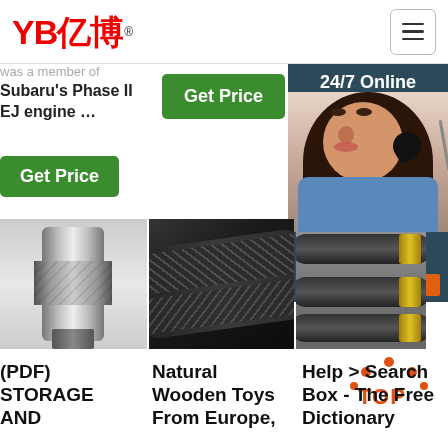[Figure (logo): YB亿博 company logo in red and black]
was a member of Subaru's Phase II EJ engine …
Get Price
24/7 Online
Get Price
[Figure (photo): Customer service woman wearing headset, smiling]
Click here for free chat !
QUOTATION
[Figure (photo): Metal coupling or connector component, close-up]
[Figure (photo): Black rubber hydraulic hose close-up with braiding]
[Figure (photo): Hydraulic hose ends with gold fittings and dark tubing]
(PDF) STORAGE AND
Natural Wooden Toys From Europe,
Help > Search Box - The Free Dictionary